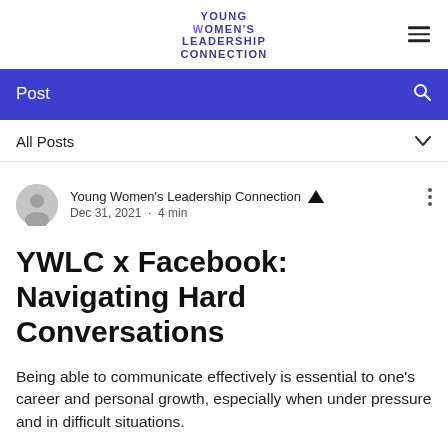YOUNG WOMEN'S LEADERSHIP CONNECTION
Post
All Posts
Young Women's Leadership Connection  Dec 31, 2021 · 4 min
YWLC x Facebook: Navigating Hard Conversations
Being able to communicate effectively is essential to one's career and personal growth, especially when under pressure and in difficult situations.